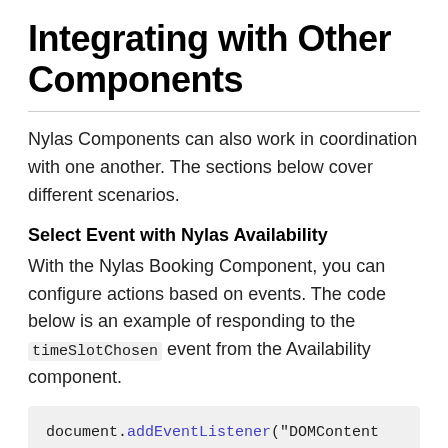Integrating with Other Components
Nylas Components can also work in coordination with one another. The sections below cover different scenarios.
Select Event with Nylas Availability
With the Nylas Booking Component, you can configure actions based on events. The code below is an example of responding to the timeSlotChosen event from the Availability component.
document.addEventListener("DOMContent
    const availability = document.query
    const booking = document.querySelec